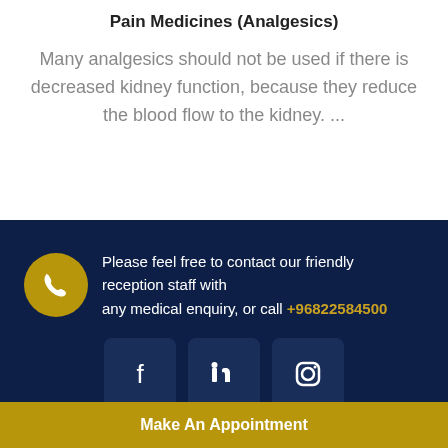Pain Medicines (Analgesics)
Many analgesics should not be used if there is decreased kidney function, because they reduce the blood flow to the kidney. ...
Please feel free to contact our friendly reception staff with any medical enquiry, or call +96822584500
[Figure (infographic): Social media icons for Facebook, LinkedIn, and Instagram in dark navy rounded square buttons]
Make An Appointment